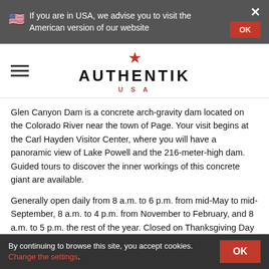🇺🇸 If you are in USA, we advise you to visit the American version of our website  OK  ×
[Figure (logo): Authentik USA logo with red star above text AUTHENTIK and USA below]
Glen Canyon Dam is a concrete arch-gravity dam located on the Colorado River near the town of Page. Your visit begins at the Carl Hayden Visitor Center, where you will have a panoramic view of Lake Powell and the 216-meter-high dam. Guided tours to discover the inner workings of this concrete giant are available.
Generally open daily from 8 a.m. to 6 p.m. from mid-May to mid-September, 8 a.m. to 4 p.m. from November to February, and 8 a.m. to 5 p.m. the rest of the year. Closed on Thanksgiving Day (4th Thursday in November), Christmas Day and January 1...
By continuing to browse this site, you accept cookies. Change the settings.  OK